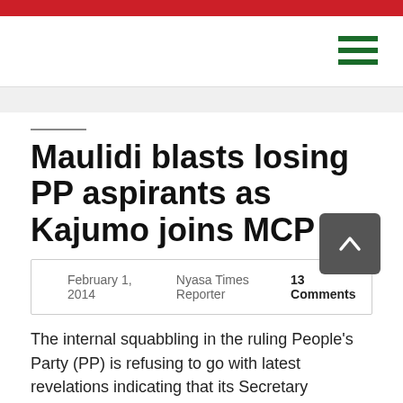Maulidi blasts losing PP aspirants as Kajumo joins MCP
February 1, 2014   Nyasa Times Reporter 13 Comments
The internal squabbling in the ruling People's Party (PP) is refusing to go with latest revelations indicating that its Secretary General, Paul Maulidi, reversed authentic results of primary results for Blantyre Rural West Constituency and